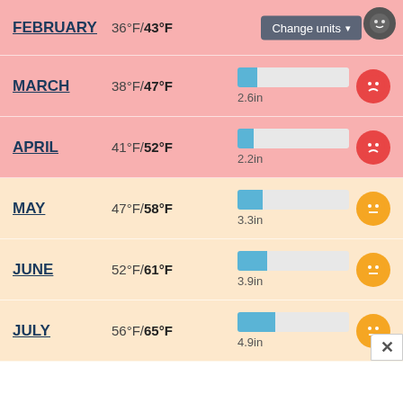| Month | Temperature | Precipitation | Rating |
| --- | --- | --- | --- |
| FEBRUARY | 36°F / 43°F | — | sad |
| MARCH | 38°F / 47°F | 2.6in | sad |
| APRIL | 41°F / 52°F | 2.2in | sad |
| MAY | 47°F / 58°F | 3.3in | neutral |
| JUNE | 52°F / 61°F | 3.9in | neutral |
| JULY | 56°F / 65°F | 4.9in | neutral |